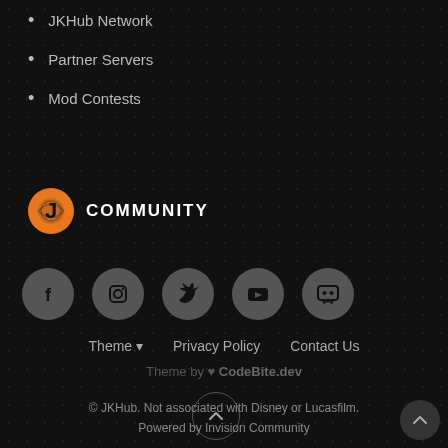JKHub Network
Partner Servers
Mod Contests
COMMUNITY
[Figure (illustration): Five social media icon circles: Facebook, Instagram, Twitter, YouTube, Discord]
Theme ▾   Privacy Policy   Contact Us
Theme by ❤ CodeBite.dev
© JKHub. Not associated with Disney or Lucasfilm. Powered by Invision Community